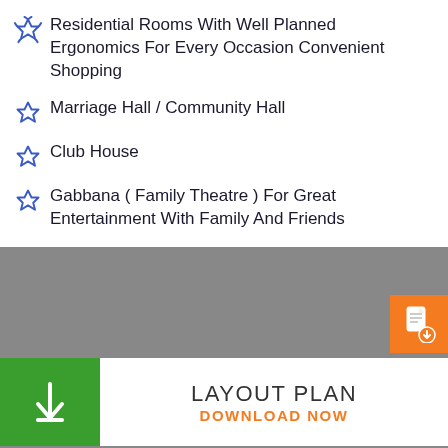Residential Rooms With Well Planned Ergonomics For Every Occasion Convenient Shopping
Marriage Hall / Community Hall
Club House
Gabbana ( Family Theatre ) For Great Entertainment With Family And Friends
LAYOUT PLAN
DOWNLOAD NOW
GAMING GALORE
BOOK FREE SITE VISIT